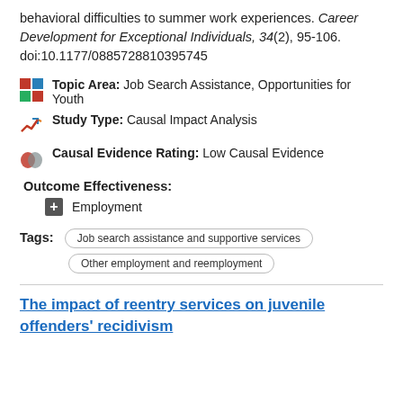behavioral difficulties to summer work experiences. Career Development for Exceptional Individuals, 34(2), 95-106. doi:10.1177/0885728810395745
Topic Area: Job Search Assistance, Opportunities for Youth
Study Type: Causal Impact Analysis
Causal Evidence Rating: Low Causal Evidence
Outcome Effectiveness: Employment
Tags: Job search assistance and supportive services | Other employment and reemployment
The impact of reentry services on juvenile offenders' recidivism